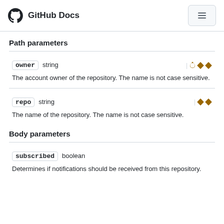GitHub Docs
Path parameters
owner  string
The account owner of the repository. The name is not case sensitive.
repo  string
The name of the repository. The name is not case sensitive.
Body parameters
subscribed  boolean
Determines if notifications should be received from this repository.